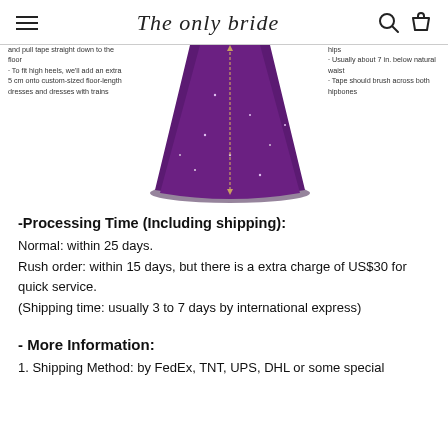The only bride
[Figure (photo): A purple sparkly floor-length gown with sizing annotations. Left side text describes height measurement instructions. Right side text describes hip measurement instructions.]
-Processing Time (Including shipping):
Normal: within 25 days.
Rush order: within 15 days, but there is a extra charge of US$30 for quick service.
(Shipping time: usually 3 to 7 days by international express)
- More Information:
1. Shipping Method: by FedEx, TNT, UPS, DHL or some special